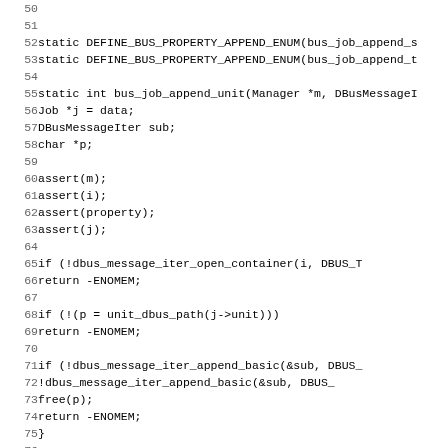Source code listing, lines 50-82, showing C code for bus_job_append_unit function with DBus message iterator operations.